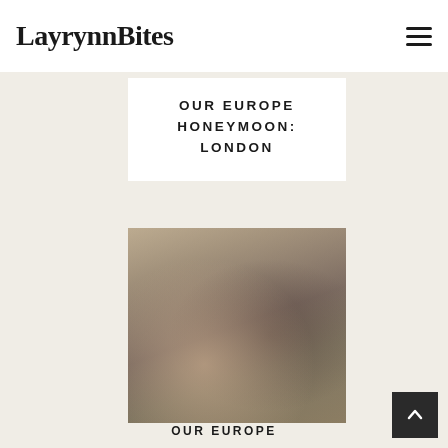LayrynnBites
[Figure (photo): Partial photo of couple visible at top of page behind header]
OUR EUROPE HONEYMOON: LONDON
[Figure (photo): Selfie photo of a young couple (woman with long hair, man with glasses) taken outdoors near a canal with autumn trees in background]
OUR EUROPE